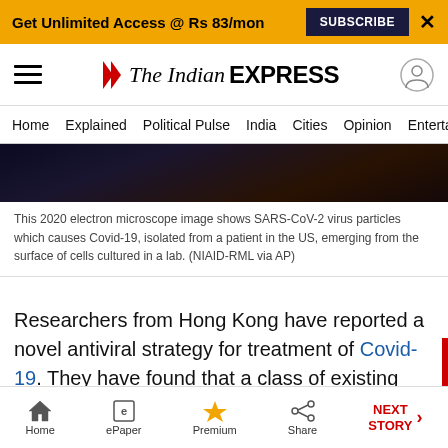Get Unlimited Access @ Rs 83/mon  SUBSCRIBE  X
The Indian EXPRESS
Home  Explained  Political Pulse  India  Cities  Opinion  Entertainment
[Figure (photo): Dark electron microscope image showing SARS-CoV-2 virus particles]
This 2020 electron microscope image shows SARS-CoV-2 virus particles which causes Covid-19, isolated from a patient in the US, emerging from the surface of cells cultured in a lab. (NIAID-RML via AP)
Researchers from Hong Kong have reported a novel antiviral strategy for treatment of Covid-19. They have found that a class of existing drugs, which are currently used in the treatment of other infectious diseases, can suppress replication of
Home  ePaper  Premium  Share  NEXT STORY